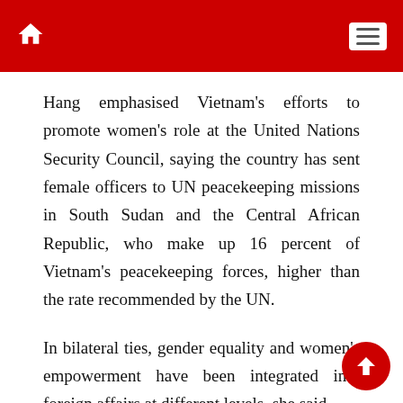Home / Menu
Hang emphasised Vietnam's efforts to promote women's role at the United Nations Security Council, saying the country has sent female officers to UN peacekeeping missions in South Sudan and the Central African Republic, who make up 16 percent of Vietnam's peacekeeping forces, higher than the rate recommended by the UN.
In bilateral ties, gender equality and women's empowerment have been integrated into foreign affairs at different levels, she said.
To carry forward achievements in this regard, she suggested the Foreign Ministry promote the key role of